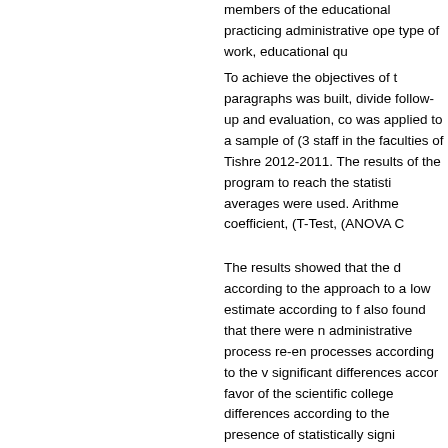members of the educational practicing administrative ope type of work, educational qu
To achieve the objectives of t paragraphs was built, divide follow-up and evaluation, co was applied to a sample of (3 staff in the faculties of Tishre 2012-2011. The results of the program to reach the statisti averages were used. Arithme coefficient, (T-Test, (ANOVA C
The results showed that the d according to the approach to a low estimate according to f also found that there were n administrative process re-en processes according to the v significant differences accor favor of the scientific college differences according to the presence of statistically signi qualification variable in favor